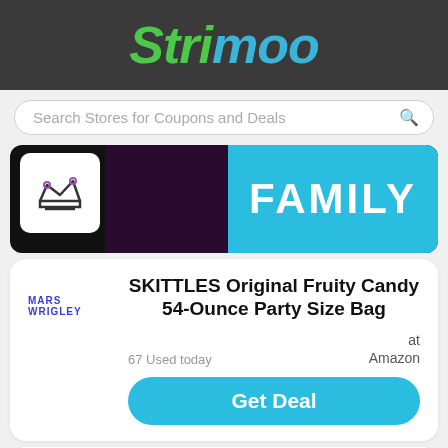Strimoo
[Figure (screenshot): Search bar with placeholder text 'Search Stores for Coupons and Deals' and a magnifying glass icon]
[Figure (photo): Banner image showing a crown logo on white background, dark purple floral background, and bright blue panel with 'FAMILY' text in white]
SKITTLES Original Fruity Candy 54-Ounce Party Size Bag
MARS WRIGLEY
67 Used today
at Amazon
Get Deal
Altoids Smalls